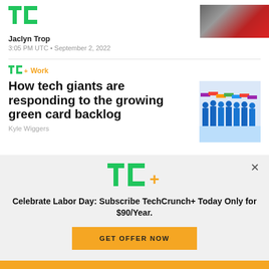TechCrunch logo and navigation
Jaclyn Trop
3:05 PM UTC • September 2, 2022
[Figure (photo): Partial image of a red and silver object, cropped at top right]
TC+ Work
How tech giants are responding to the growing green card backlog
Kyle Wiggers
[Figure (illustration): Colorful illustration of business people in suits holding colored puzzle pieces above their heads]
[Figure (logo): TC+ logo in green and yellow]
Celebrate Labor Day: Subscribe TechCrunch+ Today Only for $90/Year.
GET OFFER NOW